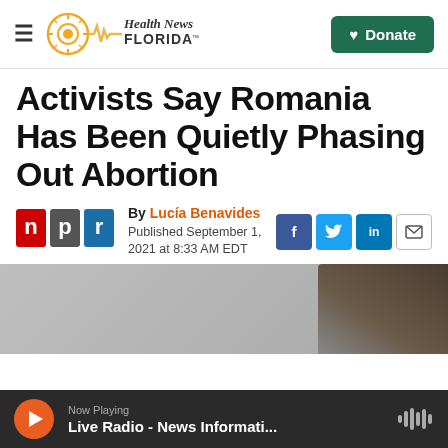Health News Florida — Donate
Activists Say Romania Has Been Quietly Phasing Out Abortion
By Lucía Benavides
Published September 1, 2021 at 8:33 AM EDT
[Figure (logo): NPR logo with red n, white p, blue r blocks]
[Figure (photo): Partial photo of a building or statue, bottom portion visible]
Now Playing
Live Radio - News Informati...